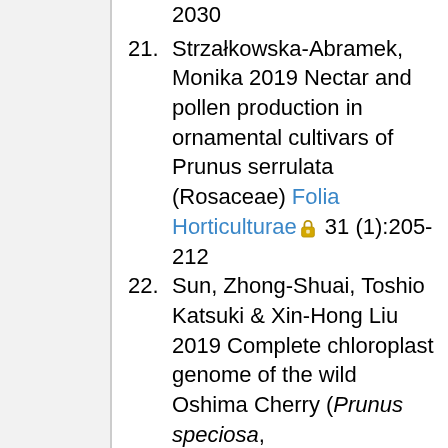2030 (partial, top of page)
21. Strzałkowska-Abramek, Monika 2019 Nectar and pollen production in ornamental cultivars of Prunus serrulata (Rosaceae) Folia Horticulturae 31 (1):205-212
22. Sun, Zhong-Shuai, Toshio Katsuki & Xin-Hong Liu 2019 Complete chloroplast genome of the wild Oshima Cherry (Prunus speciosa,